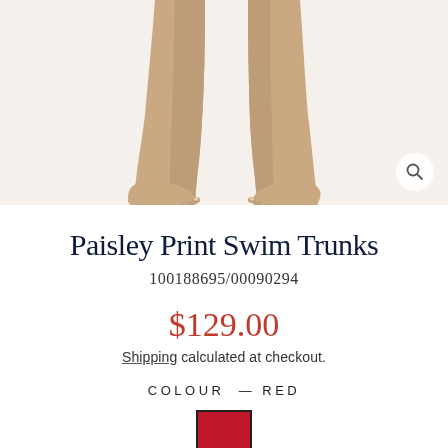[Figure (photo): Model's legs from roughly mid-thigh down, bare feet on a light cream/off-white background, wearing paisley print swim trunks (mostly cropped out of frame). A magnifying glass / zoom icon is visible in the bottom right corner of the image.]
Paisley Print Swim Trunks
100188695/00090294
$129.00
Shipping calculated at checkout.
COLOUR — Red
[Figure (illustration): Red colour swatch with a dark border representing the selected colour option.]